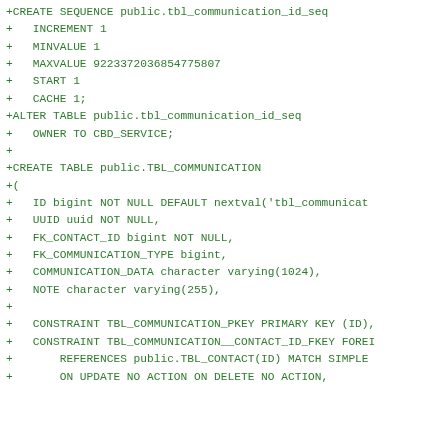+CREATE SEQUENCE public.tbl_communication_id_seq
+   INCREMENT 1
+   MINVALUE 1
+   MAXVALUE 9223372036854775807
+   START 1
+   CACHE 1;
+ALTER TABLE public.tbl_communication_id_seq
+   OWNER TO CBD_SERVICE;
+
+CREATE TABLE public.TBL_COMMUNICATION
+(
+   ID bigint NOT NULL DEFAULT nextval('tbl_communicat
+   UUID uuid NOT NULL,
+   FK_CONTACT_ID bigint NOT NULL,
+   FK_COMMUNICATION_TYPE bigint,
+   COMMUNICATION_DATA character varying(1024),
+   NOTE character varying(255),
+
+   CONSTRAINT TBL_COMMUNICATION_PKEY PRIMARY KEY (ID),
+   CONSTRAINT TBL_COMMUNICATION__CONTACT_ID_FKEY FOREI
+       REFERENCES public.TBL_CONTACT(ID) MATCH SIMPLE
+       ON UPDATE NO ACTION ON DELETE NO ACTION,